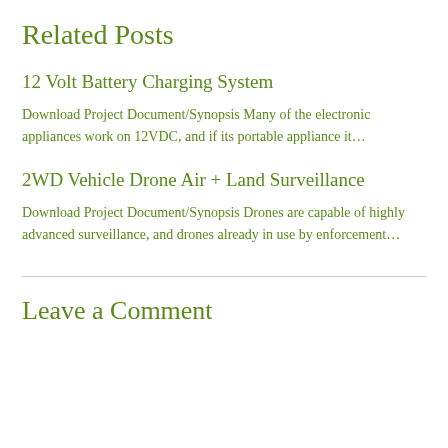Related Posts
12 Volt Battery Charging System
Download Project Document/Synopsis Many of the electronic appliances work on 12VDC, and if its portable appliance it…
2WD Vehicle Drone Air + Land Surveillance
Download Project Document/Synopsis Drones are capable of highly advanced surveillance, and drones already in use by enforcement…
Leave a Comment